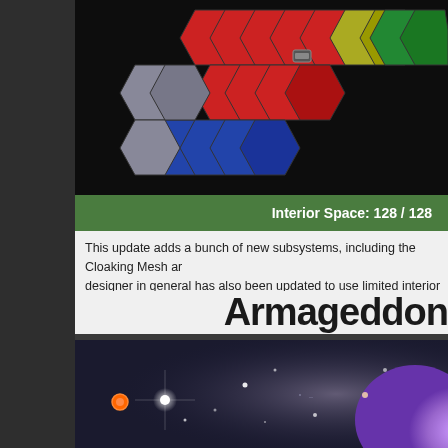[Figure (screenshot): Hexagonal strategy game map with red, blue, grey, green and yellow tiles on a dark background]
[Figure (screenshot): Green status bar showing 'Interior Space: 128 / 128' in white bold text]
This update adds a bunch of new subsystems, including the Cloaking Mesh ar designer in general has also been updated to use limited interior space for yo
Armageddon
[Figure (screenshot): Space scene showing glowing stars, lens flares, a large bright purple/white planet and a small orange circle marker on a dark blue/grey background]